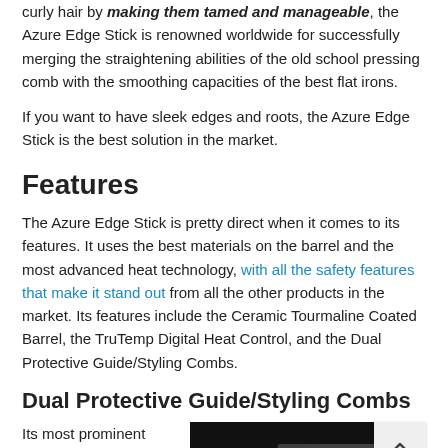curly hair by making them tamed and manageable, the Azure Edge Stick is renowned worldwide for successfully merging the straightening abilities of the old school pressing comb with the smoothing capacities of the best flat irons.
If you want to have sleek edges and roots, the Azure Edge Stick is the best solution in the market.
Features
The Azure Edge Stick is pretty direct when it comes to its features. It uses the best materials on the barrel and the most advanced heat technology, with all the safety features that make it stand out from all the other products in the market. Its features include the Ceramic Tourmaline Coated Barrel, the TruTemp Digital Heat Control, and the Dual Protective Guide/Styling Combs.
Dual Protective Guide/Styling Combs
Its most prominent feature is definitely
[Figure (photo): Dark product image of the Azure Edge Stick on a black background]